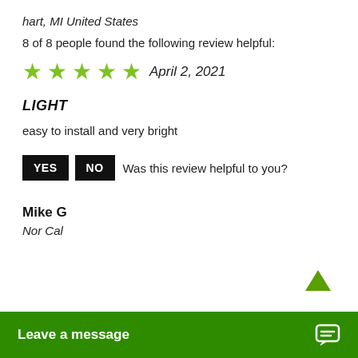hart, MI United States
8 of 8 people found the following review helpful:
[Figure (other): 5 green stars rating followed by date April 2, 2021]
LIGHT
easy to install and very bright
YES  NO  Was this review helpful to you?
Mike G
Nor Cal
Leave a message